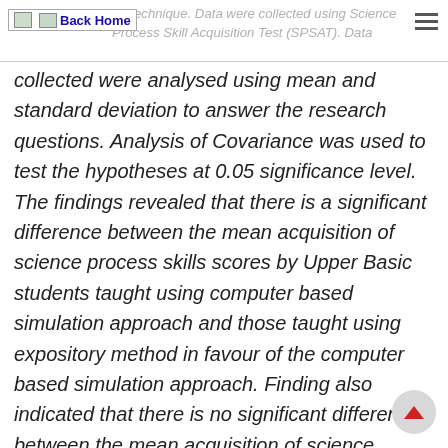Back Home | ...ng technique. Data were collected using Science Process Skill Acquisition Test (SPSAT). Data
collected were analysed using mean and standard deviation to answer the research questions. Analysis of Covariance was used to test the hypotheses at 0.05 significance level. The findings revealed that there is a significant difference between the mean acquisition of science process skills scores by Upper Basic students taught using computer based simulation approach and those taught using expository method in favour of the computer based simulation approach. Finding also indicated that there is no significant difference between the mean acquisition of science process skills scores of male and female Upper Basic students taught using computer based simulation approach. Science teachers should employ the use of computer simulation approach